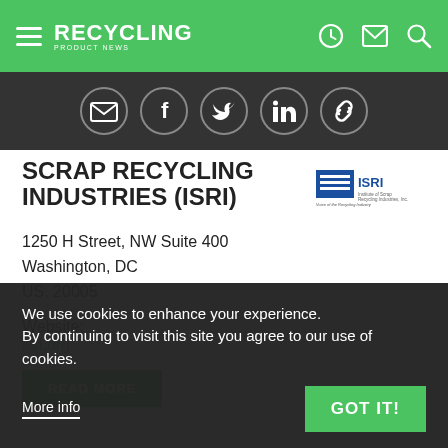RECYCLING PRODUCT NEWS
[Figure (infographic): Social sharing icons bar: email, Facebook, Twitter, LinkedIn, link icons in circles on dark background]
SCRAP RECYCLING INDUSTRIES (ISRI)
[Figure (logo): ISRI logo - Institute of Scrap Recycling Industries, Inc. Voice of the Recycling Industry]
1250 H Street, NW Suite 400
Washington, DC
US, 20005
Website:
isri.org
READ MORE
We use cookies to enhance your experience. By continuing to visit this site you agree to our use of cookies.
More info
GOT IT!